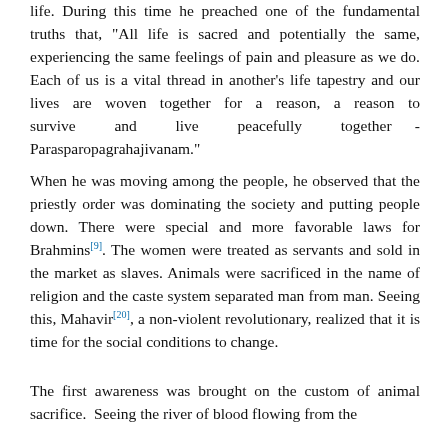life. During this time he preached one of the fundamental truths that, "All life is sacred and potentially the same, experiencing the same feelings of pain and pleasure as we do. Each of us is a vital thread in another's life tapestry and our lives are woven together for a reason, a reason to survive and live peacefully together - Parasparopagrahajivanam."
When he was moving among the people, he observed that the priestly order was dominating the society and putting people down. There were special and more favorable laws for Brahmins[9]. The women were treated as servants and sold in the market as slaves. Animals were sacrificed in the name of religion and the caste system separated man from man. Seeing this, Mahavir[20], a non-violent revolutionary, realized that it is time for the social conditions to change.
The first awareness was brought on the custom of animal sacrifice. Seeing the river of blood flowing from the